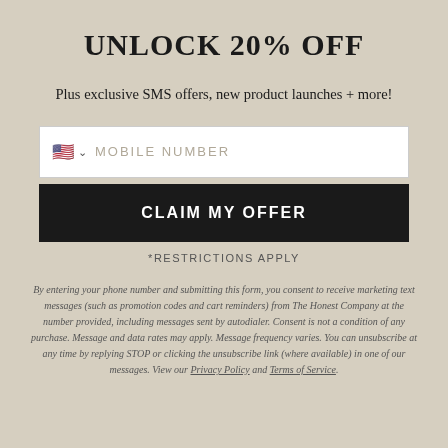UNLOCK 20% OFF
Plus exclusive SMS offers, new product launches + more!
MOBILE NUMBER (input field with US flag)
CLAIM MY OFFER
*RESTRICTIONS APPLY
By entering your phone number and submitting this form, you consent to receive marketing text messages (such as promotion codes and cart reminders) from The Honest Company at the number provided, including messages sent by autodialer. Consent is not a condition of any purchase. Message and data rates may apply. Message frequency varies. You can unsubscribe at any time by replying STOP or clicking the unsubscribe link (where available) in one of our messages. View our Privacy Policy and Terms of Service.